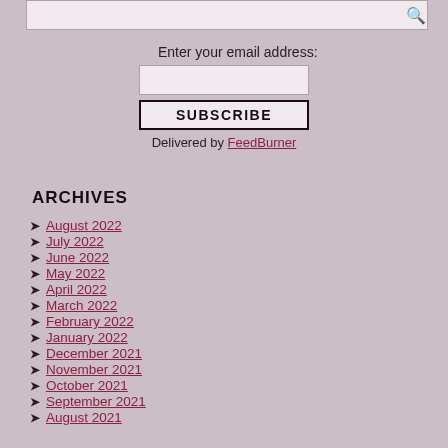Enter your email address:
SUBSCRIBE
Delivered by FeedBurner
ARCHIVES
August 2022
July 2022
June 2022
May 2022
April 2022
March 2022
February 2022
January 2022
December 2021
November 2021
October 2021
September 2021
August 2021